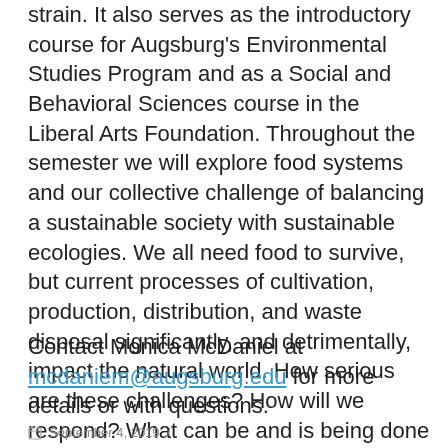strain. It also serves as the introductory course for Augsburg's Environmental Studies Program and as a Social and Behavioral Sciences course in the Liberal Arts Foundation. Throughout the semester we will explore food systems and our collective challenge of balancing a sustainable society with sustainable ecologies. We all need food to survive, but current processes of cultivation, production, distribution, and waste disposal significantly, and detrimentally, impact the natural world. How serious are these challenges? How will we respond? What can be and is being done now to minimize the further damage from these human activities?
Contact Monica McDaniel at mcdaniem@augsburg.edu for more details or with questions.
September 4, 2019 /